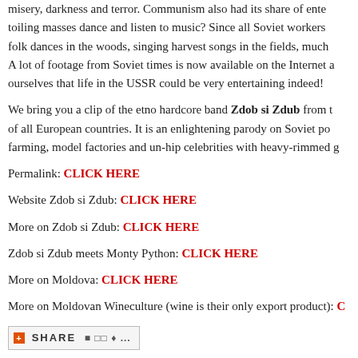misery, darkness and terror. Communism also had its share of entertainment... toiling masses dance and listen to music? Since all Soviet workers... folk dances in the woods, singing harvest songs in the fields, much... A lot of footage from Soviet times is now available on the Internet and we can see for ourselves that life in the USSR could be very entertaining indeed!
We bring you a clip of the etno hardcore band Zdob si Zdub from the... of all European countries. It is an enlightening parody on Soviet pop... farming, model factories and un-hip celebrities with heavy-rimmed g...
Permalink: CLICK HERE
Website Zdob si Zdub: CLICK HERE
More on Zdob si Zdub: CLICK HERE
Zdob si Zdub meets Monty Python: CLICK HERE
More on Moldova: CLICK HERE
More on Moldovan Wineculture (wine is their only export product): C...
[Figure (other): Share button with social media icons]
Tags: collectivism, communism, etno, etno hardcore, folklore, hardco... culture, REVLOG, submarine, submarine channel, united vloggers, U...